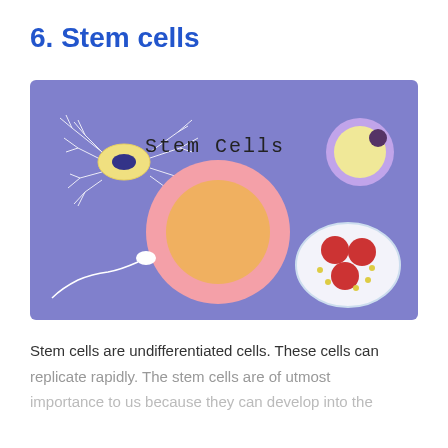6. Stem cells
[Figure (illustration): Illustration showing various types of stem cells on a purple/periwinkle background. Top left: a neuron cell (yellow elongated body with dark blue nucleus, white branching dendrites). Center: label 'Stem Cells' in dark text. Top right: a round egg-like cell (yellow with purple rim and dark nucleus). Center: a large stem cell (pink outer ring, orange nucleus). Bottom left: a sperm cell (white head with tail). Bottom right: a petri dish with three red circular cells and small yellow dots on white/light blue background.]
Stem cells are undifferentiated cells. These cells can replicate rapidly. The stem cells are of utmost importance to us because they can develop into the